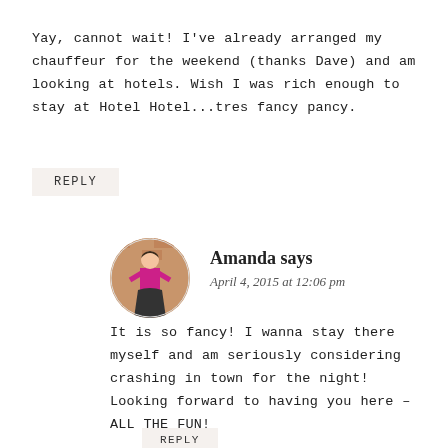Yay, cannot wait! I've already arranged my chauffeur for the weekend (thanks Dave) and am looking at hotels. Wish I was rich enough to stay at Hotel Hotel...tres fancy pancy.
REPLY
[Figure (photo): Circular avatar photo of Amanda, a person in a pink top with arms raised against a brick wall]
Amanda says
April 4, 2015 at 12:06 pm
It is so fancy! I wanna stay there myself and am seriously considering crashing in town for the night! Looking forward to having you here – ALL THE FUN!
REPLY